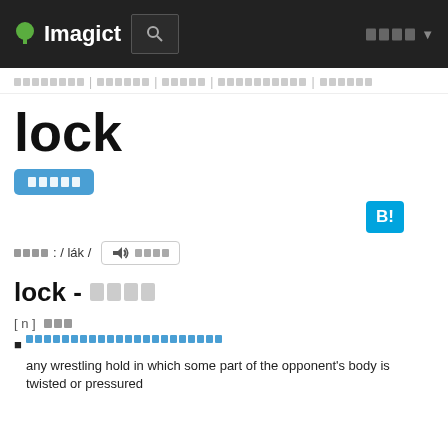Imagict [search] [menu]
[breadcrumb navigation links]
lock
[button - Japanese label]
[Figure (screenshot): Hatena Bookmark B! button]
発音: / lák / [audio button]
lock - [Japanese characters]
[ n ] [Japanese text]
■ [Japanese link text]
    any wrestling hold in which some part of the opponent's body is twisted or pressured